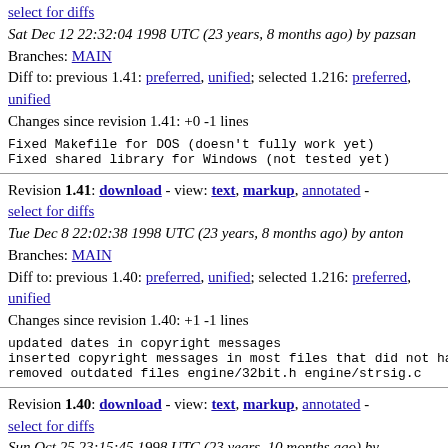select for diffs
Sat Dec 12 22:32:04 1998 UTC (23 years, 8 months ago) by pazsan
Branches: MAIN
Diff to: previous 1.41: preferred, unified; selected 1.216: preferred, unified
Changes since revision 1.41: +0 -1 lines
Fixed Makefile for DOS (doesn't fully work yet)
Fixed shared library for Windows (not tested yet)
Revision 1.41: download - view: text, markup, annotated - select for diffs
Tue Dec 8 22:02:38 1998 UTC (23 years, 8 months ago) by anton
Branches: MAIN
Diff to: previous 1.40: preferred, unified; selected 1.216: preferred, unified
Changes since revision 1.40: +1 -1 lines
updated dates in copyright messages
inserted copyright messages in most files that did not ha
removed outdated files engine/32bit.h engine/strsig.c
Revision 1.40: download - view: text, markup, annotated - select for diffs
Sun Oct 25 23:15:45 1998 UTC (23 years, 10 months ago) by pazsan